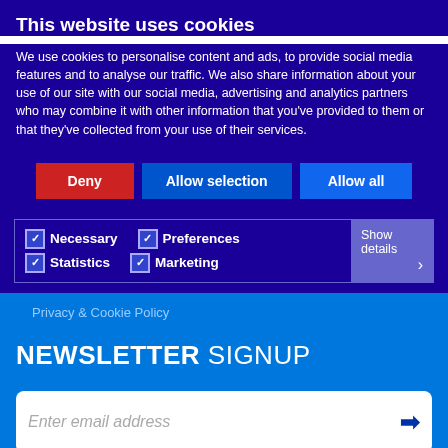This website uses cookies
We use cookies to personalise content and ads, to provide social media features and to analyse our traffic. We also share information about your use of our site with our social media, advertising and analytics partners who may combine it with other information that you've provided to them or that they've collected from your use of their services.
Deny | Allow selection | Allow all
Necessary | Preferences | Statistics | Marketing | Show details
Privacy & Cookie Policy
NEWSLETTER SIGNUP
Enter email address
Get a QuickQuote